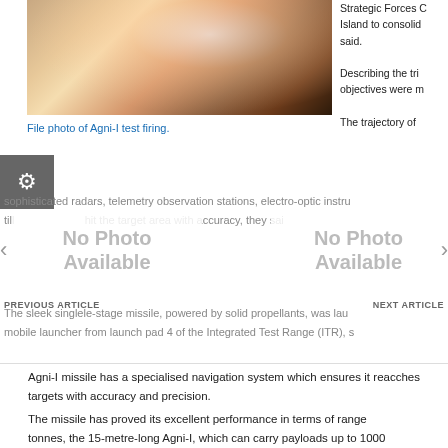[Figure (photo): File photo of Agni-I missile test firing, showing rocket launch with smoke and clouds, trees silhouetted in background]
File photo of Agni-I test firing.
Strategic Forces Command conducted the test from Wheeler Island to consolidate said.
Describing the trial objectives were met.
The trajectory of sophisticated radars, telemetry observation stations, electro-optic instruments till hit the target area with accuracy, they said.
[Figure (other): No Photo Available placeholder - left side]
[Figure (other): No Photo Available placeholder - right side]
The sleek single-stage missile, powered by solid propellants, was launched from a mobile launcher from launch pad 4 of the Integrated Test Range (ITR), s
Agni-I missile has a specialised navigation system which ensures it reaches targets with accuracy and precision.
The missile has proved its excellent performance in terms of range and payload. Weighing 12 tonnes, the 15-metre-long Agni-I, which can carry payloads up to 1000 kg, is now with the Indian Army, they said.